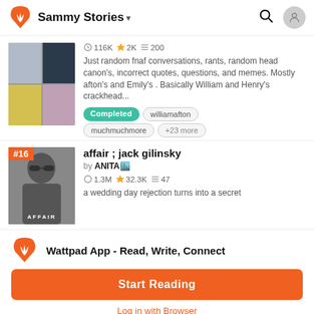Sammy Stories
116K ★ 2K ≡ 200
Just random fnaf conversations, rants, random head canon's, incorrect quotes, questions, and memes. Mostly afton's and Emily's . Basically William and Henry's crackhead...
Completed  williamafton  muchmuchmore  +23 more
affair ; jack gilinsky
by ANITA🏙
1.3M ★ 32.3K ≡ 47
a wedding day rejection turns into a secret
Wattpad App - Read, Write, Connect
Start Reading
Log in with Browser